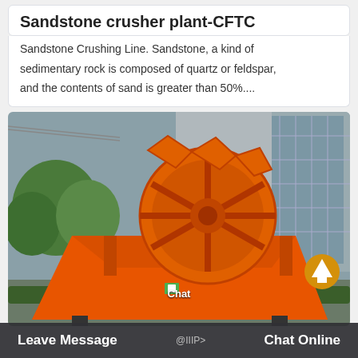Sandstone crusher plant-CFTC
Sandstone Crushing Line. Sandstone, a kind of sedimentary rock is composed of quartz or feldspar, and the contents of sand is greater than 50%....
[Figure (photo): Large orange industrial sand washer / sand washing machine with a large wheel mechanism, photographed outdoors in front of a modern building with glass facade and trees in background. A yellow circular up-arrow button is visible on the right side. A broken chat icon with the label 'Chat' is overlaid on the image.]
Leave Message   Chat Online